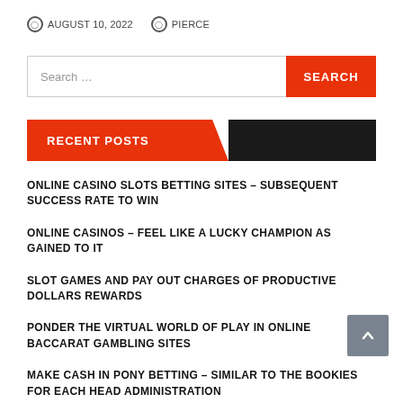AUGUST 10, 2022   PIERCE
Search ...
RECENT POSTS
ONLINE CASINO SLOTS BETTING SITES – SUBSEQUENT SUCCESS RATE TO WIN
ONLINE CASINOS – FEEL LIKE A LUCKY CHAMPION AS GAINED TO IT
SLOT GAMES AND PAY OUT CHARGES OF PRODUCTIVE DOLLARS REWARDS
PONDER THE VIRTUAL WORLD OF PLAY IN ONLINE BACCARAT GAMBLING SITES
MAKE CASH IN PONY BETTING – SIMILAR TO THE BOOKIES FOR EACH HEAD ADMINISTRATION